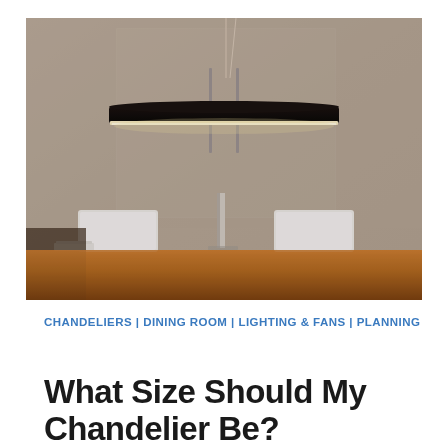[Figure (photo): Modern pendant chandelier with a flat, elongated dark disc-shaped shade emitting light from underneath, hanging over a wooden sideboard with chairs behind it, against a grey textured wall.]
CHANDELIERS | DINING ROOM | LIGHTING & FANS | PLANNING
What Size Should My Chandelier Be?